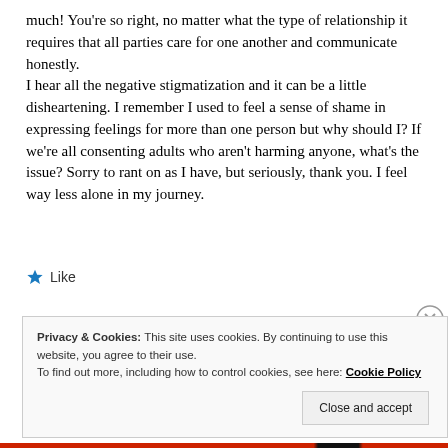much! You're so right, no matter what the type of relationship it requires that all parties care for one another and communicate honestly.
I hear all the negative stigmatization and it can be a little disheartening. I remember I used to feel a sense of shame in expressing feelings for more than one person but why should I? If we're all consenting adults who aren't harming anyone, what's the issue? Sorry to rant on as I have, but seriously, thank you. I feel way less alone in my journey.
★ Like
Privacy & Cookies: This site uses cookies. By continuing to use this website, you agree to their use.
To find out more, including how to control cookies, see here: Cookie Policy
Close and accept